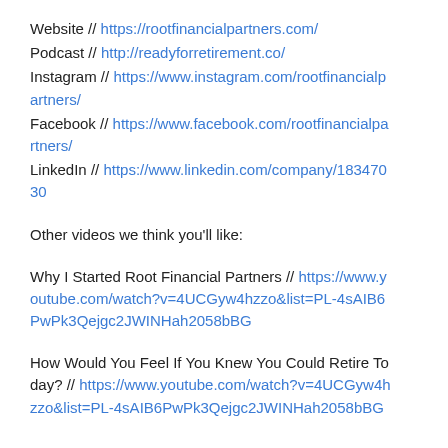Website // https://rootfinancialpartners.com/
Podcast // http://readyforretirement.co/
Instagram // https://www.instagram.com/rootfinancialpartners/
Facebook // https://www.facebook.com/rootfinancialpartners/
LinkedIn // https://www.linkedin.com/company/18347030
Other videos we think you'll like:
Why I Started Root Financial Partners // https://www.youtube.com/watch?v=4UCGyw4hzzo&list=PL-4sAIB6PwPk3Qejgc2JWINHah2058bBG
How Would You Feel If You Knew You Could Retire Today? // https://www.youtube.com/watch?v=4UCGyw4hzzo&list=PL-4sAIB6PwPk3Qejgc2JWINHah2058bBG